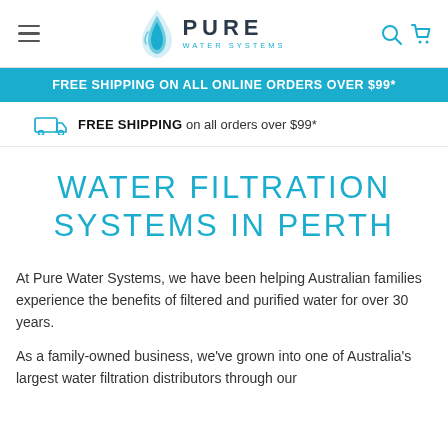Pure Water Systems — Navigation header with logo, hamburger menu, search and cart icons
FREE SHIPPING ON ALL ONLINE ORDERS OVER $99*
FREE SHIPPING on all orders over $99*
WATER FILTRATION SYSTEMS IN PERTH
At Pure Water Systems, we have been helping Australian families experience the benefits of filtered and purified water for over 30 years.
As a family-owned business, we've grown into one of Australia's largest water filtration distributors through our